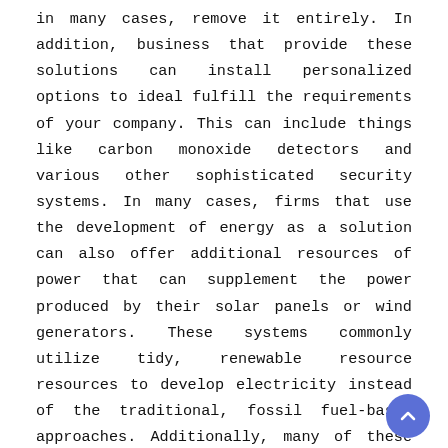in many cases, remove it entirely. In addition, business that provide these solutions can install personalized options to ideal fulfill the requirements of your company. This can include things like carbon monoxide detectors and various other sophisticated security systems. In many cases, firms that use the development of energy as a solution can also offer additional resources of power that can supplement the power produced by their solar panels or wind generators. These systems commonly utilize tidy, renewable resource resources to develop electricity instead of the traditional, fossil fuel-based approaches. Additionally, many of these firms can offer rewards to their clients that will certainly aid them in countering the prices of their energy generation systems. These kinds of deals can help to make sure that they are completely capable of running their energy generation facilities without sustaining monetary losses The